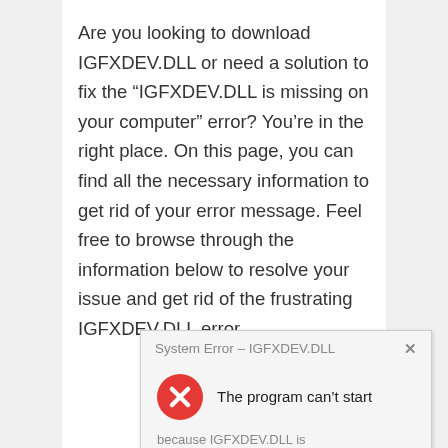Are you looking to download IGFXDEV.DLL or need a solution to fix the “IGFXDEV.DLL is missing on your computer” error? You’re in the right place. On this page, you can find all the necessary information to get rid of your error message. Feel free to browse through the information below to resolve your issue and get rid of the frustrating IGFXDEV.DLL error.
[Figure (screenshot): Windows system error dialog box titled 'System Error – IGFXDEV.DLL' with a red X error icon and text 'The program can’t start' and partially visible text below indicating IGFXDEV.DLL is missing.]